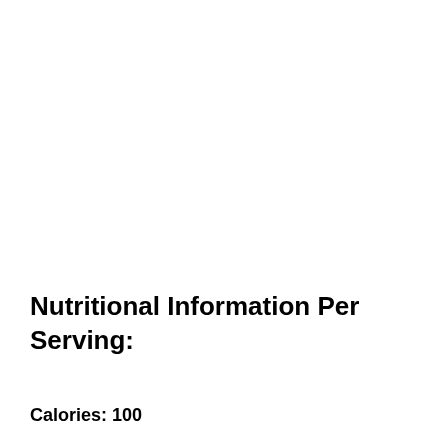Nutritional Information Per Serving:
Calories: 100